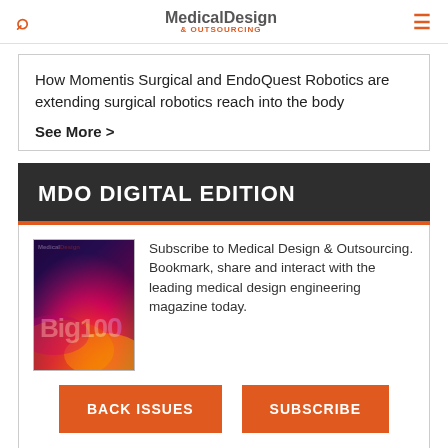Medical Design & Outsourcing
How Momentis Surgical and EndoQuest Robotics are extending surgical robotics reach into the body
See More >
MDO DIGITAL EDITION
[Figure (illustration): Medical Design magazine cover featuring Big100 with colorful abstract design]
Subscribe to Medical Design & Outsourcing. Bookmark, share and interact with the leading medical design engineering magazine today.
BACK ISSUES
SUBSCRIBE